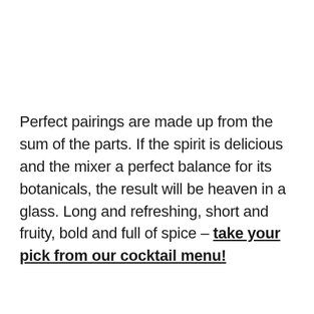Perfect pairings are made up from the sum of the parts. If the spirit is delicious and the mixer a perfect balance for its botanicals, the result will be heaven in a glass. Long and refreshing, short and fruity, bold and full of spice – take your pick from our cocktail menu!